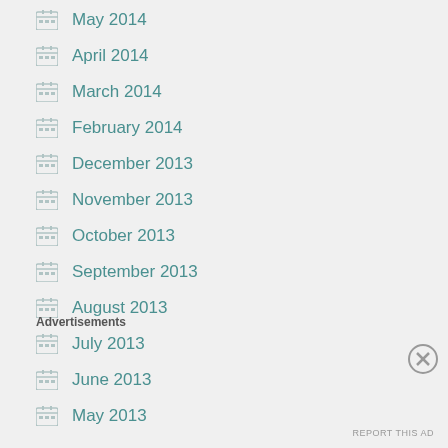May 2014
April 2014
March 2014
February 2014
December 2013
November 2013
October 2013
September 2013
August 2013
July 2013
June 2013
May 2013
Advertisements
REPORT THIS AD